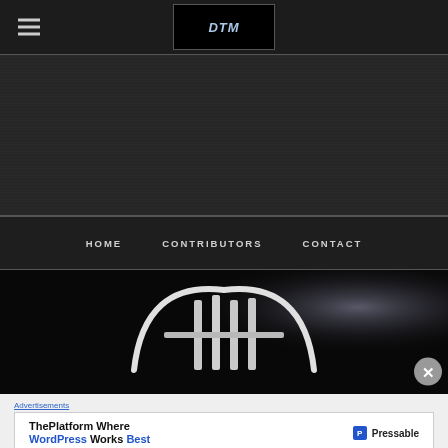≡  [DTM logo]
[Figure (other): Dark textured background area, advertisement/banner space]
HOME   CONTRIBUTORS   CONTACT
[Figure (photo): Dark hero image showing a chrome/metallic car grille or emblem on black background]
Advertisements
[Figure (other): Advertisement banner: ThePlatform Where WordPress Works Best - Pressable]